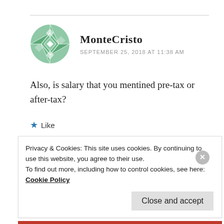MonteCristo
SEPTEMBER 25, 2018 AT 11:38 AM
Also, is salary that you mentined pre-tax or after-tax?
Like
REPLY
Privacy & Cookies: This site uses cookies. By continuing to use this website, you agree to their use.
To find out more, including how to control cookies, see here: Cookie Policy
Close and accept